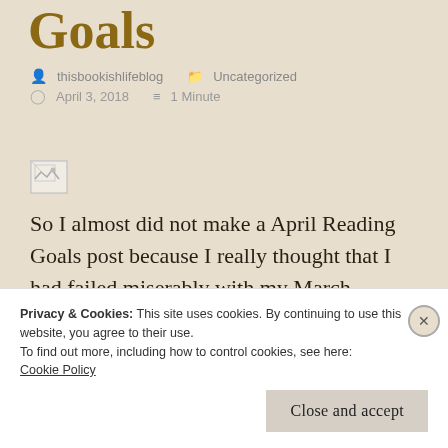Goals
thisbookishlifeblog   Uncategorized   April 3, 2018   1 Minute
[Figure (photo): Broken/placeholder image thumbnail]
So I almost did not make a April Reading Goals post because I really thought that I had failed miserably with my March Reading Goal list. I took a look back at the image and realized that
Privacy & Cookies: This site uses cookies. By continuing to use this website, you agree to their use.
To find out more, including how to control cookies, see here:
Cookie Policy
Close and accept